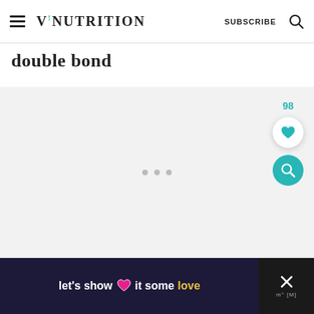V!NUTRITION  SUBSCRIBE  [search icon]
double bond
[Figure (screenshot): Light gray content/image placeholder area with three small gray loading dots in the center]
[Figure (infographic): Like count '98' and heart/favorite button (white circle with teal heart icon) and teal search FAB button below it, overlaid on right side of content area]
[Figure (infographic): Bottom ad banner: dark background with text 'let's show it some love' with pink heart emoji, yellow 'love' word; right side has X close button and Mediavine logo]